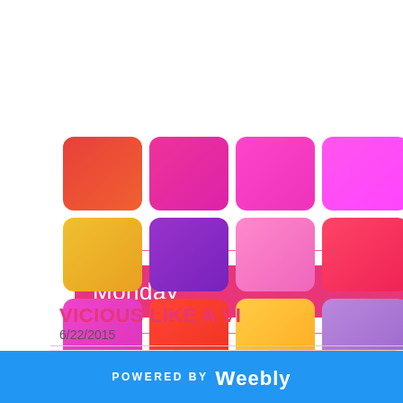Monday
[Figure (illustration): Grid of colorful rounded squares in various bright colors including pink, magenta, purple, red, orange, yellow, blue, teal, arranged in a 4x4 grid pattern]
VICIOUS LIKE A VI...
6/22/2015
[Figure (photo): Photo of a person with blonde/pink hair, showing partial view from behind/side]
POWERED BY weebly